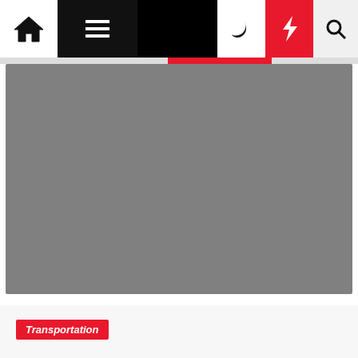Navigation bar with home, menu, moon, lightning, and search icons
[Figure (screenshot): Hero image placeholder — solid gray rectangle representing a news article featured image]
Transportation
Springville Health & Fitness
Debora Carley  1 year ago
[Figure (photo): Bottom article featured image — blue sky or background image, partially visible]